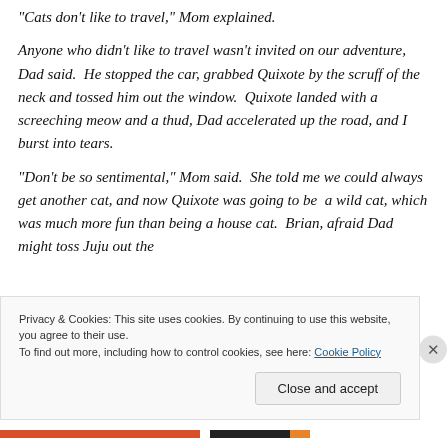“Cats don’t like to travel,” Mom explained.
Anyone who didn’t like to travel wasn’t invited on our adventure, Dad said.  He stopped the car, grabbed Quixote by the scruff of the neck and tossed him out the window.  Quixote landed with a screeching meow and a thud, Dad accelerated up the road, and I burst into tears.
“Don’t be so sentimental,” Mom said.  She told me we could always get another cat, and now Quixote was going to be  a wild cat, which was much more fun than being a house cat.  Brian, afraid Dad might toss Juju out the
Privacy & Cookies: This site uses cookies. By continuing to use this website, you agree to their use.
To find out more, including how to control cookies, see here: Cookie Policy